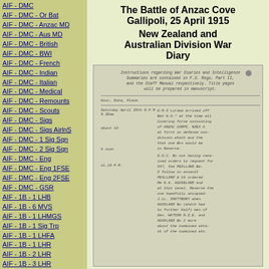AIF - DMC
AIF - DMC - Or Bat
AIF - DMC - Anzac MD
AIF - DMC - Aus MD
AIF - DMC - British
AIF - DMC - BWI
AIF - DMC - French
AIF - DMC - Indian
AIF - DMC - Italian
AIF - DMC - Medical
AIF - DMC - Remounts
AIF - DMC - Scouts
AIF - DMC - Sigs
AIF - DMC - Sigs AirlnS
AIF - DMC - 1 Sig Sqn
AIF - DMC - 2 Sig Sqn
AIF - DMC - Eng
AIF - DMC - Eng 1FSE
AIF - DMC - Eng 2FSE
AIF - DMC - GSR
AIF - 1B - 1 LHB
AIF - 1B - 6 MVS
AIF - 1B - 1 LHMGS
AIF - 1B - 1 Sig Trp
AIF - 1B - 1 LHFA
AIF - 1B - 1 LHR
AIF - 1B - 2 LHR
AIF - 1B - 3 LHR
The Battle of Anzac Cove
Gallipoli, 25 April 1915
New Zealand and Australian Division War Diary
[Figure (photo): Scanned handwritten War Diary document page showing instructions regarding War Diaries and Intelligence Summaries, with columns for Hour/Date/Place and handwritten entries for Saturday April 25th noting naval and military activities at Anzac Cove.]